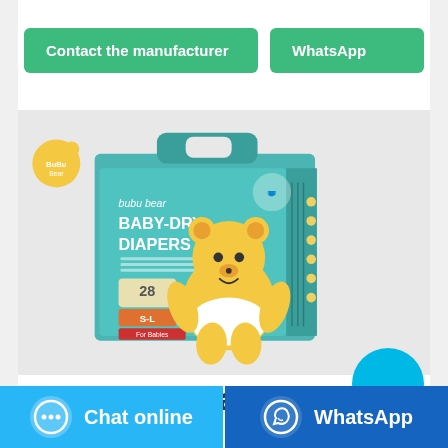Contact the manufacturer
WhatsApp
[Figure (photo): Bubu Bear Baby-Dry Diapers product package, teal/green box with cartoon bear character, 28 diapers, size S-L]
Wholesale Pampers Baby
Chat online
WhatsApp